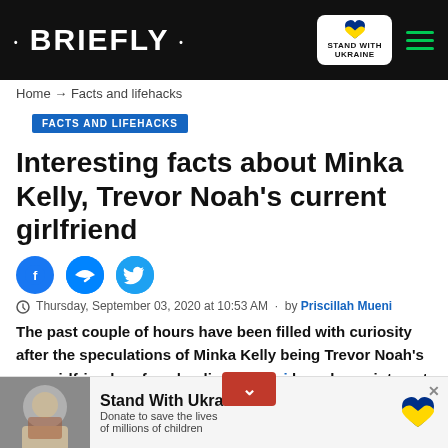• BRIEFLY • | STAND WITH UKRAINE
Home → Facts and lifehacks
FACTS AND LIFEHACKS
Interesting facts about Minka Kelly, Trevor Noah's current girlfriend
Thursday, September 03, 2020 at 10:53 AM · by Priscillah Mueni
The past couple of hours have been filled with curiosity after the speculations of Minka Kelly being Trevor Noah's new girlfriend surfaced online. Mzansi has shown interest in knowing the new lady that the